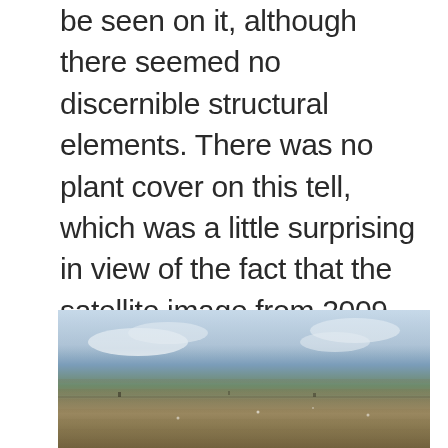be seen on it, although there seemed no discernible structural elements. There was no plant cover on this tell, which was a little surprising in view of the fact that the satellite image from 2009 imagery shows green plants on the tell and other tells in the area did have a good cover for this year 2012. The prevailing wind on this visit blew across the tell and was especially cold on this occasion, but it is not clear whether this was the reason for the lack of vegetation.
[Figure (photo): A wide landscape photograph showing a flat, barren terrain (an archaeological tell) under an overcast sky with scattered clouds. The ground appears to be dry, brownish-grey earth with minimal vegetation. The horizon is low and the sky takes up the upper portion of the image.]